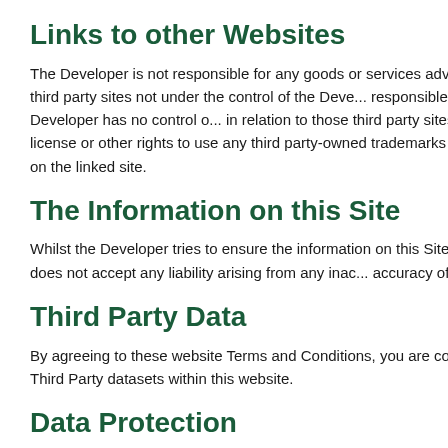Links to other Websites
The Developer is not responsible for any goods or services advertised by third party sites. Where there are links from this Site to third party sites not under the control of the Developer, the Developer is not responsible for the content of the linked website. The Developer has no control over and accepts no liability in relation to those third party sites, the owners of which do not necessarily have any connection with us, any license or other rights to use any third party-owned trademarks appearing on the linked sites, or for the statements, opinions or content on the linked site.
The Information on this Site
Whilst the Developer tries to ensure the information on this Site is accurate, the Developer cannot guarantee this information and the Developer does not accept any liability arising from any inaccuracy. You should check the accuracy of any information before relying on it.
Third Party Data
By agreeing to these website Terms and Conditions, you are confirming that you have agreed to the terms and conditions for the use of your Third Party datasets within this website.
Data Protection
Your privacy is protected in accordance with our Privacy Statement.
Permitted Use of the Site
While visiting this Site you may not: post, transmit or otherwise distribute information constituting or encouraging conduct that would constitute a criminal offense, or give rise to civil liability, or otherwise use the Site in a manner which is contrary to law or which would damage or tarnish the reputation of the Developer whilst enjoying this Site or the Internet; post or transmit any information or software which contains a virus, cancelbot, trojan horse, worm or other harmful component. Also you may not use (other than to the extent permitted by applicable law) any device, software or routine that interferes with the proper working of the Site.